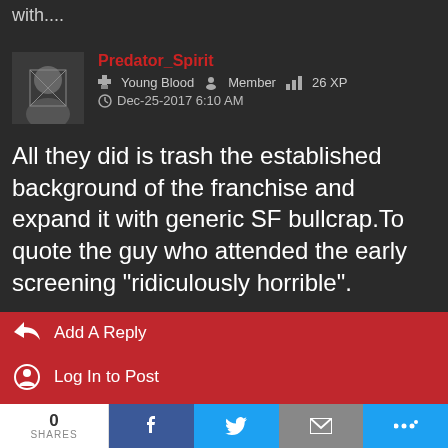with....
Predator_Spirit | Young Blood | Member | 26 XP | Dec-25-2017 6:10 AM
All they did is trash the established background of the franchise and expand it with generic SF bullcrap.To quote the guy who attended the early screening "ridiculously horrible".
Add A Reply
Log In to Post
Enter Your E-Mail
0 SHARES | Facebook share | Twitter share | Email share | More share